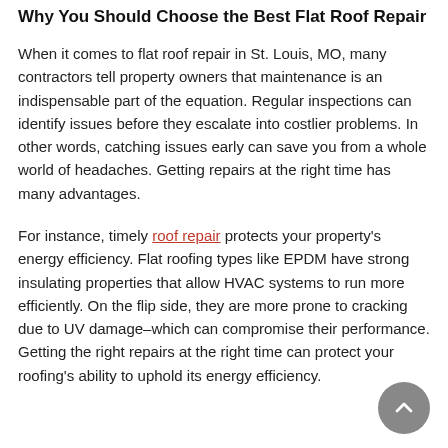Why You Should Choose the Best Flat Roof Repair
When it comes to flat roof repair in St. Louis, MO, many contractors tell property owners that maintenance is an indispensable part of the equation. Regular inspections can identify issues before they escalate into costlier problems. In other words, catching issues early can save you from a whole world of headaches. Getting repairs at the right time has many advantages.
For instance, timely roof repair protects your property's energy efficiency. Flat roofing types like EPDM have strong insulating properties that allow HVAC systems to run more efficiently. On the flip side, they are more prone to cracking due to UV damage–which can compromise their performance. Getting the right repairs at the right time can protect your roofing's ability to uphold its energy efficiency.